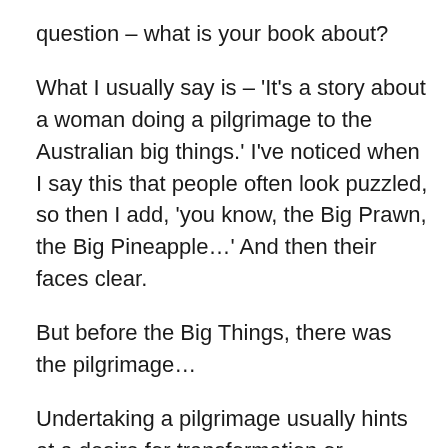question – what is your book about?
What I usually say is – 'It's a story about a woman doing a pilgrimage to the Australian big things.' I've noticed when I say this that people often look puzzled, so then I add, 'you know, the Big Prawn, the Big Pineapple…' And then their faces clear.
But before the Big Things, there was the pilgrimage…
Undertaking a pilgrimage usually hints at a desire for transformation or redemption, which is the case for my protagonist. The story opens at Byron Bay railway station on New Year's Eve where Arkie plans to end it all. However, as you may know, you'd be waiting an awfully long time to throw yourself under a train in Byron Bay. Arkie is a trendspotter who has carelessly lost in quick